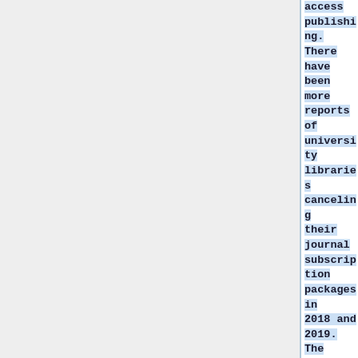access publishing. There have been more reports of university libraries canceling their journal subscription packages in 2018 and 2019. The industry also faces threats from websites that freely share pirated copies of